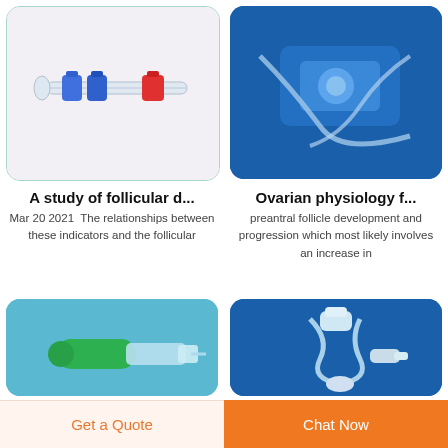[Figure (photo): Medical connectors/tubes with red and blue caps on white background]
[Figure (photo): Medical equipment on blue background]
A study of follicular d...
Mar 20 2021  The relationships between these indicators and the follicular
Ovarian physiology f...
preantral follicle development and progression which most likely involves an increase in
[Figure (photo): Green medical syringe/tube on light blue background]
[Figure (photo): IV infusion set with tubing and connectors on blue background]
Get a Quote
Chat Now